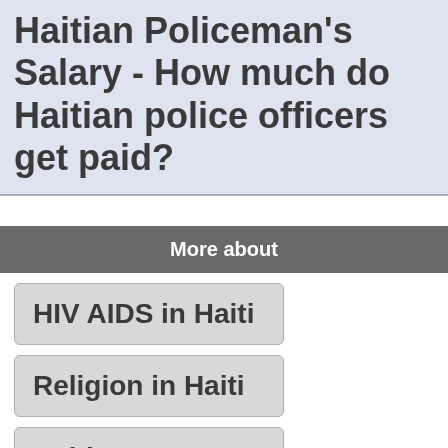Haitian Policeman's Salary - How much do Haitian police officers get paid?
More about
HIV AIDS in Haiti
Religion in Haiti
Haitian Pastors
Haitian Newsletter Articles